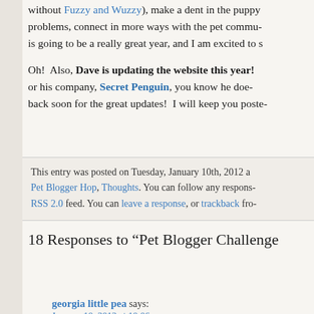without Fuzzy and Wuzzy), make a dent in the puppy problems, connect in more ways with the pet commu- is going to be a really great year, and I am excited to s
Oh!  Also, Dave is updating the website this year! or his company, Secret Penguin, you know he doe- back soon for the great updates!  I will keep you poste-
This entry was posted on Tuesday, January 10th, 2012 a Pet Blogger Hop, Thoughts. You can follow any respons- RSS 2.0 feed. You can leave a response, or trackback fro-
18 Responses to “Pet Blogger Challenge
georgia little pea says:
January 10, 2012 at 10:06 pm
You're late Dr Shawn! What a year you've had. Both Very B